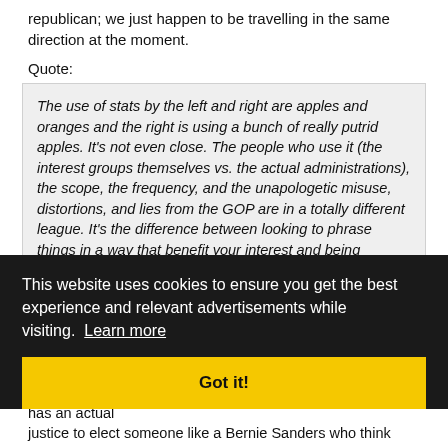republican; we just happen to be travelling in the same direction at the moment.
Quote:
The use of stats by the left and right are apples and oranges and the right is using a bunch of really putrid apples. It's not even close. The people who use it (the interest groups themselves vs. the actual administrations), the scope, the frequency, and the unapologetic misuse, distortions, and lies from the GOP are in a totally different league. It's the difference between looking to phrase things in a way that benefit your interest and being misleading vs. manufacturing lies on an industrial scale.
I believe there are misuses of stats on the left, the right and from some on the right. The left the democratic republic of the country. The the left does outweighs the right. I do not. I believe the left has an actual justice to elect someone like a Bernie Sanders who think could be an absolute I know I previously said I kinda liked him, but after some time I realized I was very wrong.
This website uses cookies to ensure you get the best experience and relevant advertisements while visiting. Learn more
Got it!